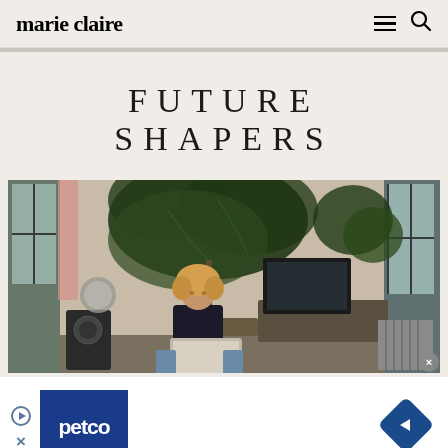marie claire
FUTURE SHAPERS
[Figure (photo): Woman with curly blonde hair sitting at a desk with a laptop in a plant-filled room with large windows and a TV in the background]
[Figure (other): Petco advertisement banner with play/close controls and a blue navigation diamond arrow on the right]